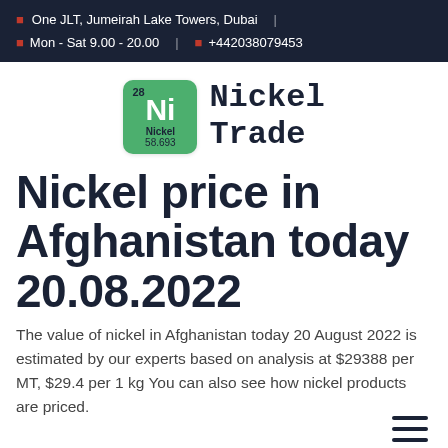One JLT, Jumeirah Lake Towers, Dubai | Mon - Sat 9.00 - 20.00 | +442038079453
[Figure (logo): Nickel Trade logo with periodic table element box for Ni (Nickel, 28, 58.693) in green, followed by bold monospace text 'Nickel Trade']
Nickel price in Afghanistan today 20.08.2022
The value of nickel in Afghanistan today 20 August 2022 is estimated by our experts based on analysis at $29388 per MT, $29.4 per 1 kg You can also see how nickel products are priced.